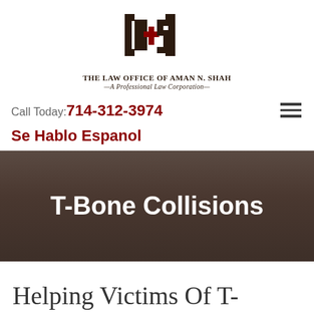[Figure (logo): The Law Office of Aman N. Shah logo — stylized A+S letterform in dark brown with a red cross symbol, above firm name text]
Call Today: 714-312-3974
Se Hablo Espanol
T-Bone Collisions
Helping Victims Of T-